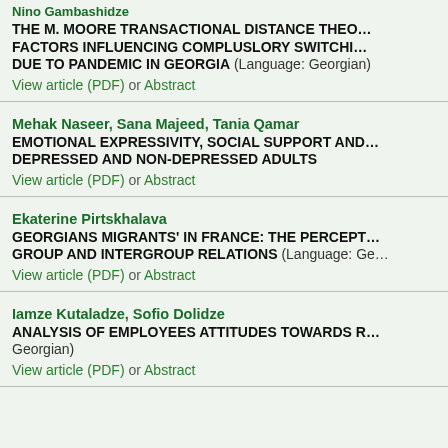Nino Gambashidze
THE M. MOORE TRANSACTIONAL DISTANCE THEORY AND FACTORS INFLUENCING COMPLUSLORY SWITCHING DUE TO PANDEMIC IN GEORGIA (Language: Georgian)
View article (PDF) or Abstract
Mehak Naseer, Sana Majeed, Tania Qamar
EMOTIONAL EXPRESSIVITY, SOCIAL SUPPORT AND DEPRESSED AND NON-DEPRESSED ADULTS
View article (PDF) or Abstract
Ekaterine Pirtskhalava
GEORGIANS MIGRANTS' IN FRANCE: THE PERCEPTION OF GROUP AND INTERGROUP RELATIONS (Language: Georgian)
View article (PDF) or Abstract
Iamze Kutaladze, Sofio Dolidze
ANALYSIS OF EMPLOYEES ATTITUDES TOWARDS R... (Language: Georgian)
View article (PDF) or Abstract